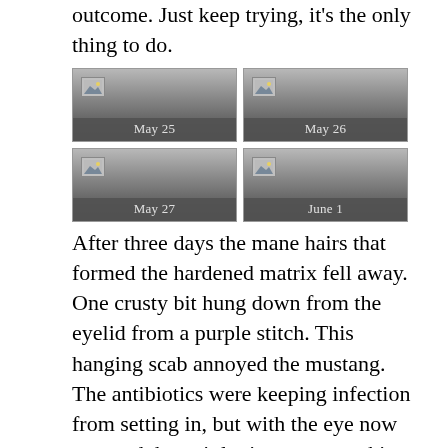outcome. Just keep trying, it’s the only thing to do.
[Figure (photo): Four thumbnail images arranged in a 2x2 grid, each showing a gray gradient placeholder with a small image icon in the top-left corner and a date label at the bottom: May 25, May 26, May 27, June 1]
After three days the mane hairs that formed the hardened matrix fell away. One crusty bit hung down from the eyelid from a purple stitch. This hanging scab annoyed the mustang. The antibiotics were keeping infection from setting in, but with the eye now exposed, he quit letting me spray his eye. I couldn’t blame him. I searched for another way.